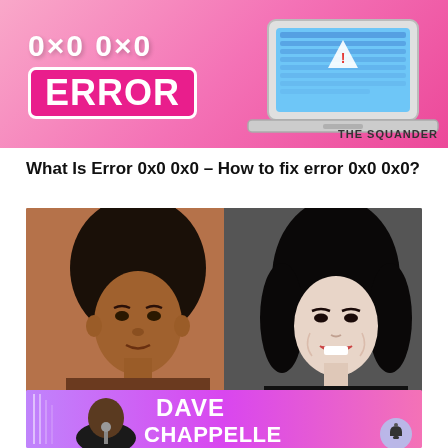[Figure (illustration): Pink banner with '0x0 0x0 ERROR' text in white/pink bold font and laptop illustration on the right. Bottom right shows 'THE SQUANDER' text.]
What Is Error 0x0 0x0 – How to fix error 0x0 0x0?
[Figure (photo): Side-by-side photos of Michael Jackson: left shows young Michael Jackson with afro hairstyle, right shows older Michael Jackson with straight black hair, smiling.]
Michael Jackson Net Worth
[Figure (illustration): Pink/purple gradient banner showing Dave Chappelle on the left side and large white bold text 'DAVE CHAPPELLE' on the right. Notification bell icon visible.]